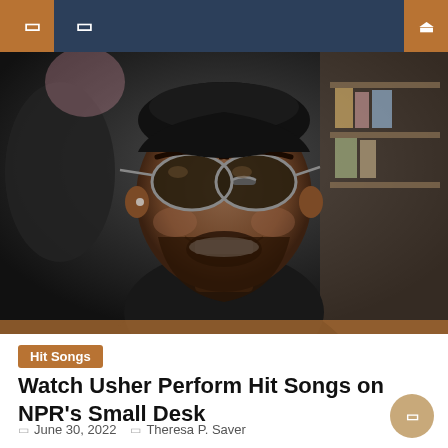Navigation header with menu icons and search
[Figure (photo): Close-up photo of Usher wearing sunglasses and a black jacket, smiling, at what appears to be an NPR Tiny Desk concert setting with shelves in the background.]
Hit Songs
Watch Usher Perform Hit Songs on NPR's Small Desk
June 30, 2022   Theresa P. Saver